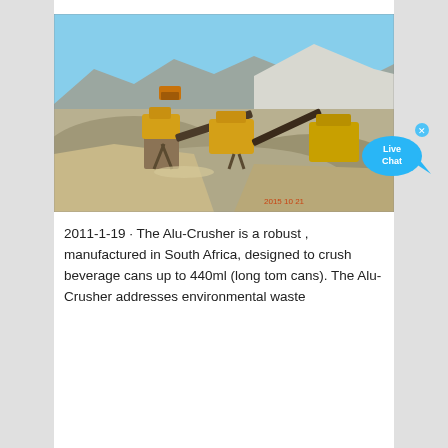[Figure (photo): Outdoor mining/quarry site with yellow heavy crushing machinery, conveyor belts, and large piles of crushed stone/gravel. Mountains and a clear blue sky visible in the background. A timestamp '2015-10-21' appears in the bottom-right corner of the photo. A 'Live Chat' bubble overlay appears in the upper-right corner of the image.]
2011-1-19 · The Alu-Crusher is a robust , manufactured in South Africa, designed to crush beverage cans up to 440ml (long tom cans). The Alu-Crusher addresses environmental waste